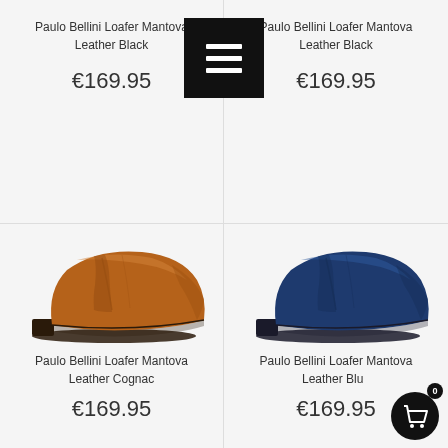Paulo Bellini Loafer Mantova Leather Black
€169.95
[Figure (photo): Menu/hamburger icon button (black square with three white horizontal lines)]
Paulo Bellini Loafer Mantova Leather Black
€169.95
[Figure (photo): Paulo Bellini Loafer Mantova Leather Cognac - side view of a tan/cognac leather loafer shoe]
[Figure (photo): Paulo Bellini Loafer Mantova Leather Blue - side view of a navy blue leather loafer shoe]
Paulo Bellini Loafer Mantova Leather Cognac
€169.95
Paulo Bellini Loafer Mantova Leather Blue
€169.95
[Figure (other): Shopping cart icon button (black circle with white cart icon and 0 badge)]